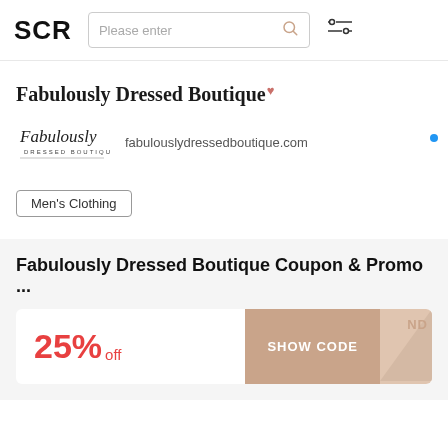SCR
Fabulously Dressed Boutique
[Figure (logo): Fabulously Dressed Boutique cursive logo]
fabulouslydressedboutique.com
Men's Clothing
Fabulously Dressed Boutique Coupon & Promo ...
25% off
SHOW CODE